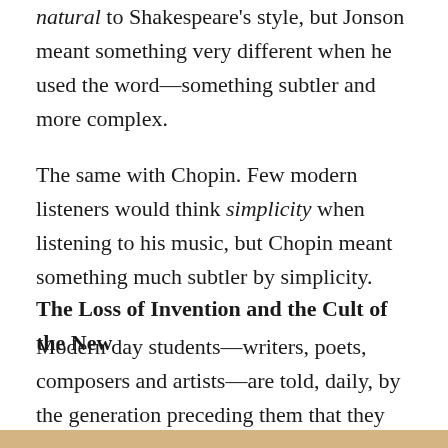natural to Shakespeare's style, but Jonson meant something very different when he used the word—something subtler and more complex.
The same with Chopin. Few modern listeners would think simplicity when listening to his music, but Chopin meant something much subtler by simplicity.
The Loss of Invention and the Cult of the New
Modern day students—writers, poets, composers and artists—are told, daily, by the generation preceding them that they mustn't sound like, paint like or write like the artists before them. But such standards aren't written in stone. They would have